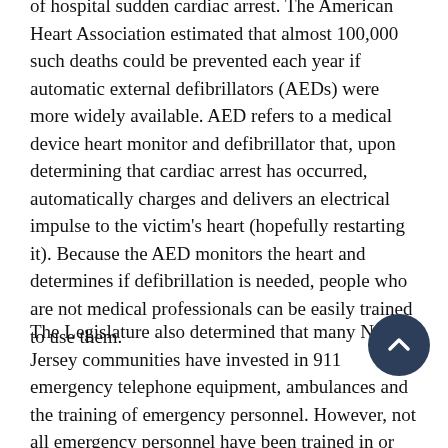of hospital sudden cardiac arrest. The American Heart Association estimated that almost 100,000 such deaths could be prevented each year if automatic external defibrillators (AEDs) were more widely available. AED refers to a medical device heart monitor and defibrillator that, upon determining that cardiac arrest has occurred, automatically charges and delivers an electrical impulse to the victim's heart (hopefully restarting it). Because the AED monitors the heart and determines if defibrillation is needed, people who are not medical professionals can be easily trained to use them.
The Legislature also determined that many New Jersey communities have invested in 911 emergency telephone equipment, ambulances and the training of emergency personnel. However, not all emergency personnel have been trained in or have immediate access to AEDs. Legislation was passed to encourage greater acquisition, deployment and use of AEDs by